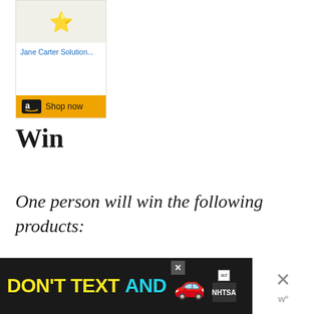[Figure (screenshot): Amazon product widget showing Jane Carter Solution product with a shop now button and Amazon logo on gold background]
Win
One person will win the following products:
[Figure (screenshot): NHTSA 'Don't Text and Drive' advertisement banner in black with yellow and cyan text and red car emoji, with close buttons]